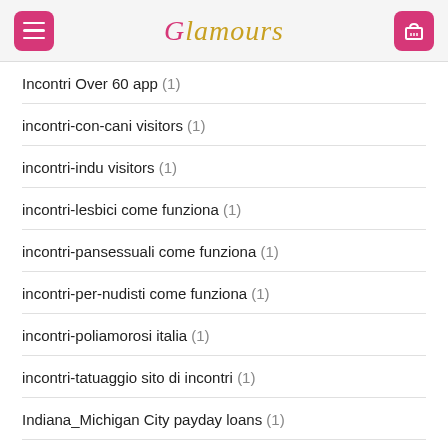Glamours
Incontri Over 60 app (1)
incontri-con-cani visitors (1)
incontri-indu visitors (1)
incontri-lesbici come funziona (1)
incontri-pansessuali come funziona (1)
incontri-per-nudisti come funziona (1)
incontri-poliamorosi italia (1)
incontri-tatuaggio sito di incontri (1)
Indiana_Michigan City payday loans (1)
indianapolis escort (1)